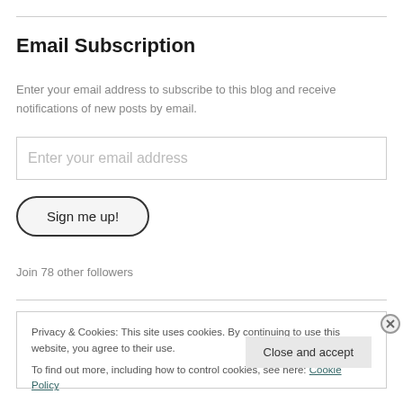Email Subscription
Enter your email address to subscribe to this blog and receive notifications of new posts by email.
Enter your email address
Sign me up!
Join 78 other followers
Privacy & Cookies: This site uses cookies. By continuing to use this website, you agree to their use.
To find out more, including how to control cookies, see here: Cookie Policy
Close and accept